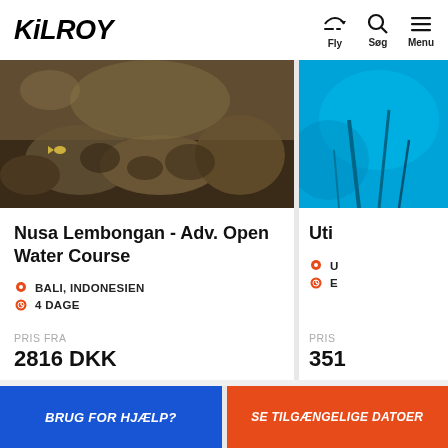[Figure (logo): KiLROY logo in bold italic black text]
[Figure (infographic): Navigation icons: plane (Fly), search (Søg), hamburger menu (Menu)]
[Figure (photo): Underwater coral reef photo showing rocks and marine life]
Nusa Lembongan - Adv. Open Water Course
BALI, INDONESIEN
4 DAGE
PRIS FRA
2816 DKK
Uti
PRIS
351
BRUG FOR HJÆLP?
SE TILGÆNGELIGE DATOER